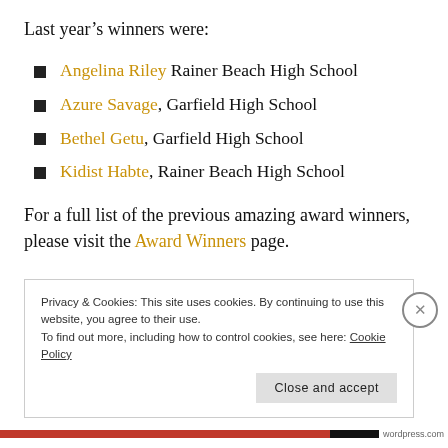Last year's winners were:
Angelina Riley Rainer Beach High School
Azure Savage, Garfield High School
Bethel Getu, Garfield High School
Kidist Habte, Rainer Beach High School
For a full list of the previous amazing award winners, please visit the Award Winners page.
Privacy & Cookies: This site uses cookies. By continuing to use this website, you agree to their use.
To find out more, including how to control cookies, see here: Cookie Policy